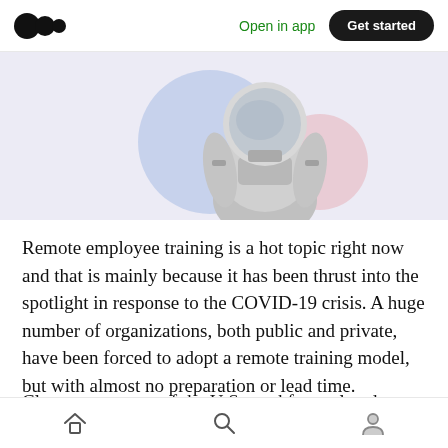Open in app  Get started
[Figure (photo): Astronaut in a spacesuit, cropped at torso and head, with blue and pink circular overlapping design elements in the background on a light gray/white banner.]
Remote employee training is a hot topic right now and that is mainly because it has been thrust into the spotlight in response to the COVID-19 crisis. A huge number of organizations, both public and private, have been forced to adopt a remote training model, but with almost no preparation or lead time.
Close to a quarter of the U.S. workforce already
Home  Search  Profile